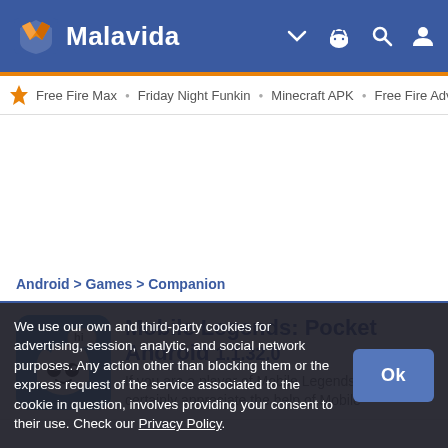Malavida
Free Fire Max • Friday Night Funkin • Minecraft APK • Free Fire Advar
Android > Games > Companion
Mobile Legends: Pocket Android 1.1.32.0
If you are a player of Mobile Legends you will certainly appreciate the help of Mobile
We use our own and third-party cookies for advertising, session, analytic, and social network purposes. Any action other than blocking them or the express request of the service associated to the cookie in question, involves providing your consent to their use. Check our Privacy Policy.